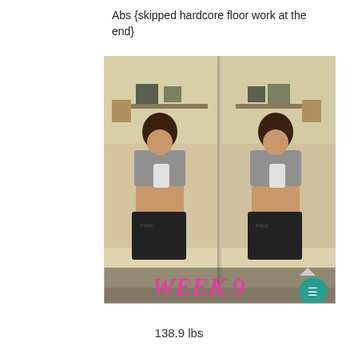Abs {skipped hardcore floor work at the end}
[Figure (photo): Side-by-side mirror selfie comparison photos of a woman in a gray sports bra and black PINK shorts showing pregnancy belly progress. Text overlay at the bottom reads 'WEEK 9' in pink/magenta lettering. A teal chat button is visible in the lower right corner.]
138.9 lbs